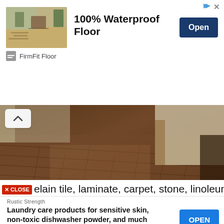[Figure (screenshot): Advertisement banner for FirmFit Floor showing '100% Waterproof Floor' with thumbnail room image and Open button]
[Figure (photo): Close-up photo of wood-look tile/laminate flooring in a room, brown tones, with bed corner visible]
Source: www.discountflooringcasagrande.com
Porcelain tile, laminate, carpet, stone, linoleum &
[Figure (screenshot): Advertisement for Rustic Strength: 'Laundry care products for sensitive skin, non-toxic dishwasher powder, and much more-' with OPEN button]